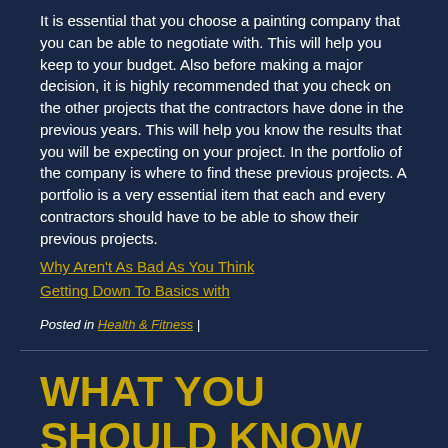It is essential that you choose a painting company that you can be able to negotiate with. This will help you keep to your budget. Also before making a major decision, it is highly recommended that you check on the other projects that the contractors have done in the previous years. This will help you know the results that you will be expecting on your project. In the portfolio of the company is where to find these previous projects. A portfolio is a very essential item that each and every contractors should have to be able to show their previous projects.
Why Aren't As Bad As You Think
Getting Down To Basics with
Posted in Health & Fitness |
WHAT YOU SHOULD KNOW ABOUT THIS YEAR